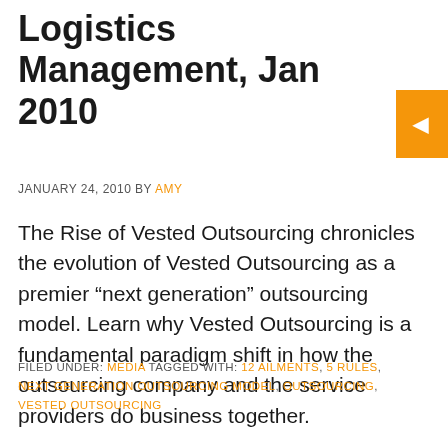Logistics Management, Jan 2010
JANUARY 24, 2010 BY AMY
The Rise of Vested Outsourcing chronicles the evolution of Vested Outsourcing as a premier “next generation” outsourcing model. Learn why Vested Outsourcing is a fundamental paradigm shift in how the outsourcing company and the service providers do business together.
FILED UNDER: MEDIA TAGGED WITH: 12 AILMENTS, 5 RULES, NEXT GENERATION OUTSOURCING MODEL, OUTSOURCING, VESTED OUTSOURCING